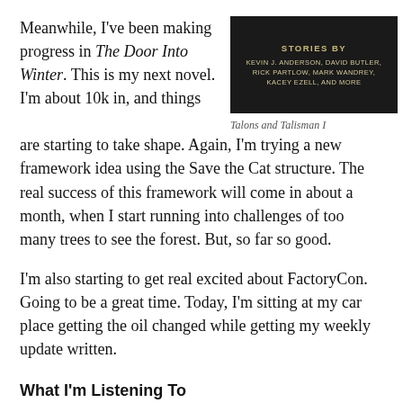Meanwhile, I've been making progress in The Door Into Winter. This is my next novel. I'm about 10k in, and things are starting to take shape. Again, I'm trying a new framework idea using the Save the Cat structure. The real success of this framework will come in about a month, when I start running into challenges of too many trees to see the forest. But, so far so good.
[Figure (other): Book cover image with dark background showing text: STORIES BY KEVIN J. ANDERSON, DAVID BUTLER, RICK PARTLOW, MARK WANDREY, KACEY EZELL, AND MORE]
Talons and Talisman I
I'm also starting to get real excited about FactoryCon. Going to be a great time. Today, I'm sitting at my car place getting the oil changed while getting my weekly update written.
What I'm Listening To
Really bad car videos that are incredibly boring. But, I'm getting work done while getting the car maintained. I can at